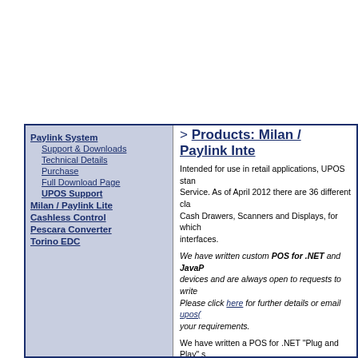> Products: Milan / Paylink Inte...
Paylink System
Support & Downloads
Technical Details
Purchase
Full Download Page
UPOS Support
Milan / Paylink Lite
Cashless Control
Pescara Converter
Torino EDC
Intended for use in retail applications, UPOS stan... Service. As of April 2012 there are 36 different cla... Cash Drawers, Scanners and Displays, for which ... interfaces.
We have written custom POS for .NET and JavaP... devices and are always open to requests to write ... Please click here for further details or email upos(... your requirements.
We have written a POS for .NET "Plug and Play" s... Milan / Paylink, which allows for a wide range of p... a PC and then to appear to the retail application a... device. A "Cash Changer" device is capable of ac... currency (coins and bills) and so is a key device f... systems.
This is available as a free download (see below) t... application that integrates the same device and fr...